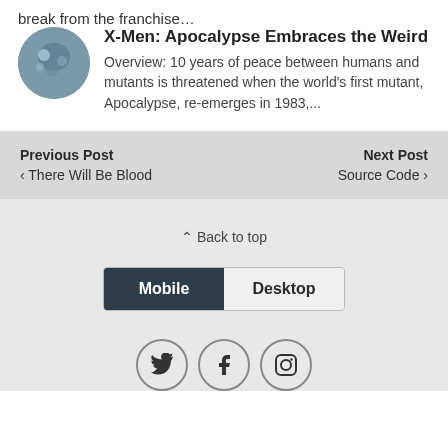break from the franchise…
X-Men: Apocalypse Embraces the Weird
Overview: 10 years of peace between humans and mutants is threatened when the world's first mutant, Apocalypse, re-emerges in 1983,...
Previous Post
‹ There Will Be Blood
Next Post
Source Code ›
⌃ Back to top
Mobile | Desktop
[Figure (other): Social media icons: Twitter, Facebook, Instagram in circle outlines]